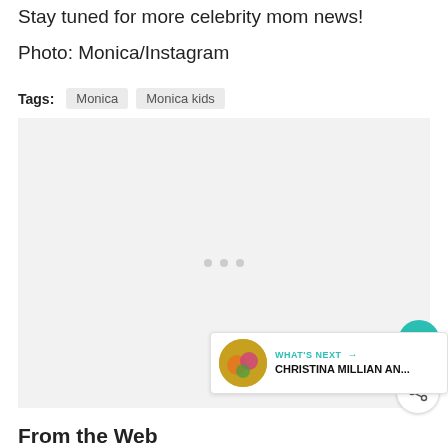Stay tuned for more celebrity mom news!
Photo: Monica/Instagram
Tags: Monica   Monica kids
[Figure (other): Advertisement placeholder block with three small dots centered]
WHAT'S NEXT → CHRISTINA MILLIAN AN...
From the Web